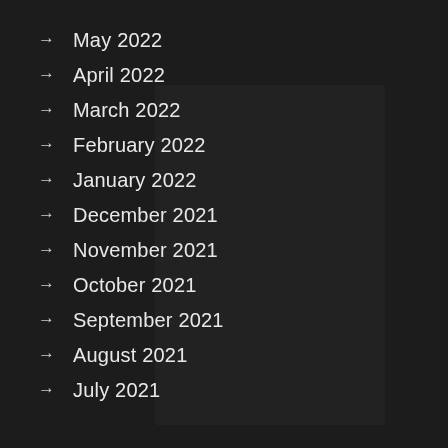→ May 2022
→ April 2022
→ March 2022
→ February 2022
→ January 2022
→ December 2021
→ November 2021
→ October 2021
→ September 2021
→ August 2021
→ July 2021
[Figure (photo): Grayscale blurred photo of an office environment with a person sitting at a desk working, visible through a window/glass partition. Dark overlay applied over the image.]